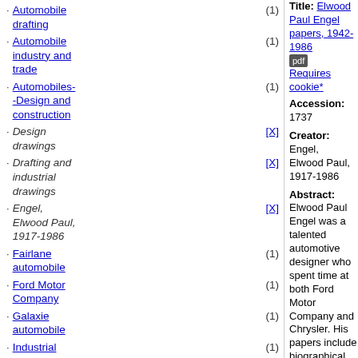Automobile drafting (1)
Automobile industry and trade (1)
Automobiles--Design and construction (1)
Design drawings [X]
Drafting and industrial drawings [X]
Engel, Elwood Paul, 1917-1986 [X]
Fairlane automobile (1)
Ford Motor Company (1)
Galaxie automobile (1)
Industrial designers (1)
Mercury automobile (1)
Photographic prints [X]
Title: Elwood Paul Engel papers, 1942-1986 [pdf] Requires cookie*
Accession: 1737
Creator: Engel, Elwood Paul, 1917-1986
Abstract: Elwood Paul Engel was a talented automotive designer who spent time at both Ford Motor Company and Chrysler. His papers include biographical material, drawings, clippings, awards and photographs of concept and production